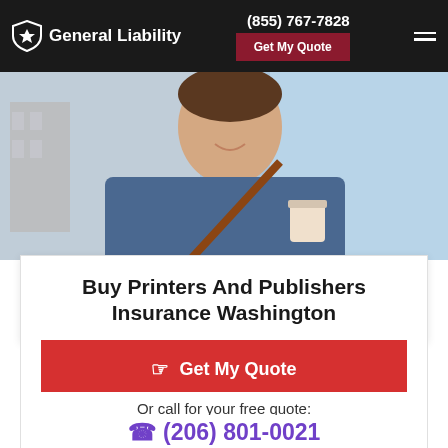General Liability | (855) 767-7828 | Get My Quote
[Figure (photo): Hero image of a smiling young man in a denim jacket carrying a bag and a coffee cup, with a building and blue sky in the background.]
Buy Printers And Publishers Insurance Washington
Get My Quote
Or call for your free quote:
(206) 801-0021